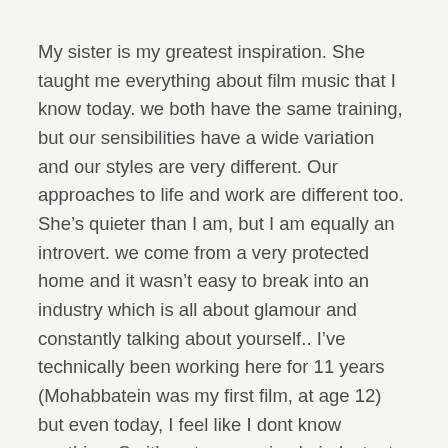My sister is my greatest inspiration. She taught me everything about film music that I know today. we both have the same training, but our sensibilities have a wide variation and our styles are very different. Our approaches to life and work are different too. She’s quieter than I am, but I am equally an introvert. we come from a very protected home and it wasn’t easy to break into an industry which is all about glamour and constantly talking about yourself.. I’ve technically been working here for 11 years (Mohabbatein was my first film, at age 12) but even today, I feel like I dont know anything. So it’s not a very simple industry to work in.. Trends and times change very soon here. But I believe if you work hard, people do acknowledge it sooner or later.
My sister has been my biggest strengths at all times and all phases of my career. She has faced more detractors